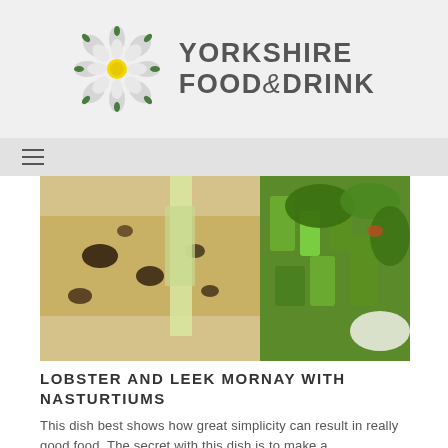[Figure (logo): Yorkshire Food & Drink logo — Yorkshire rose flower icon on the left and bold text 'YORKSHIRE FOOD & DRINK' on the right]
[Figure (photo): Close-up photo of lobster and leek mornay dish with dark char marks on cheese topping and bright green leek pieces]
LOBSTER AND LEEK MORNAY WITH NASTURTIUMS
This dish best shows how great simplicity can result in really good food. The secret with this dish is to make a